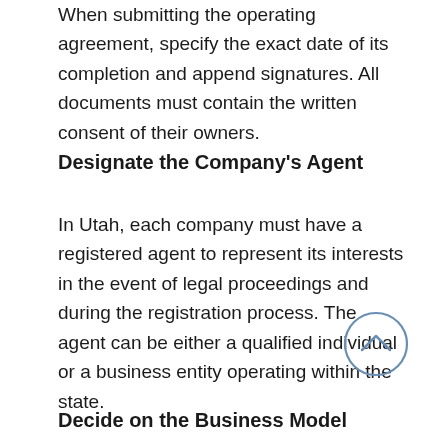When submitting the operating agreement, specify the exact date of its completion and append signatures. All documents must contain the written consent of their owners.
Designate the Company's Agent
In Utah, each company must have a registered agent to represent its interests in the event of legal proceedings and during the registration process. The agent can be either a qualified individual or a business entity operating within the state.
Decide on the Business Model